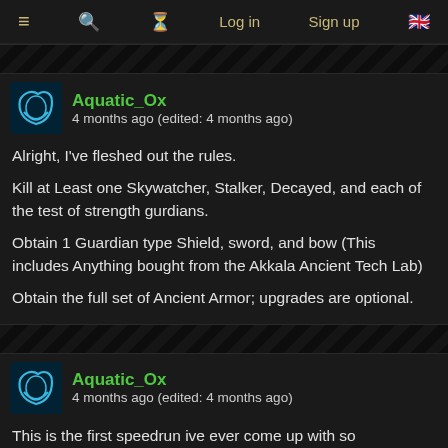≡  🔍  ⏳  Log in  Sign up  🇬🇧
Aquatic_Ox
4 months ago (edited: 4 months ago)
Alright, I've fleshed out the rules.

Kill at Least one Skywatcher, Stalker, Decayed, and each of the test of strength gurdians.

Obtain 1 Guardian type Shield, sword, and bow (This includes Anything bought from the Akkala Ancient Tech Lab)

Obtain the full set of Ancient Armor; upgrades are optional.
Aquatic_Ox
4 months ago (edited: 4 months ago)
This is the first speedrun ive ever come up with so @AdmTCrumpet